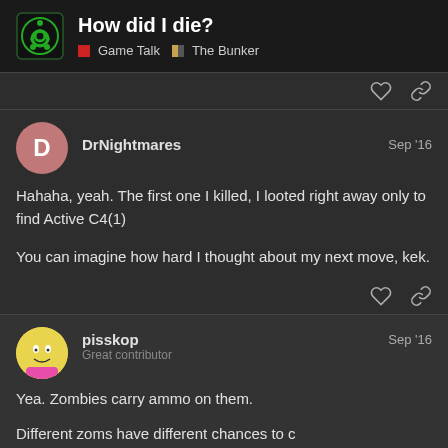How did I die? | Game Talk | The Bunker
DrNightmares  Sep '16
Hahaha, yeah. The first one I killed, I looted right away only to find Active C4(1)

You can imagine how hard I thought about my next move, kek.
pisskop  Sep '16
Great contributor

Yea. Zombies carry ammo on them.

Different zoms have different chances to c
1 / 9